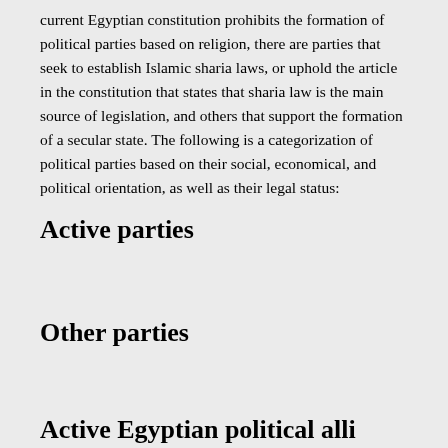current Egyptian constitution prohibits the formation of political parties based on religion, there are parties that seek to establish Islamic sharia laws, or uphold the article in the constitution that states that sharia law is the main source of legislation, and others that support the formation of a secular state. The following is a categorization of political parties based on their social, economical, and political orientation, as well as their legal status:
Active parties
Other parties
Active Egyptian political alli...